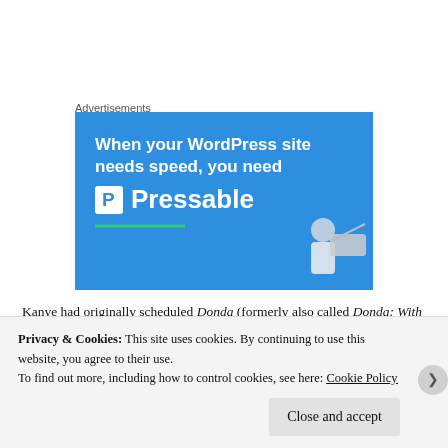Advertisements
[Figure (illustration): Blue advertisement banner for Pressable WordPress hosting. White bold text reads 'When your WordPress site needs speed, you need' followed by a white P logo box and 'Pressable' brand name in large white text. A green underline decorates the bottom of the text area. A person holding a laptop is shown in the bottom right corner.]
Kanye had originally scheduled Donda (formerly also called Donda: With Child) for release in late summer, confirming it "linked" in the
Privacy & Cookies: This site uses cookies. By continuing to use this website, you agree to their use.
To find out more, including how to control cookies, see here: Cookie Policy
Close and accept